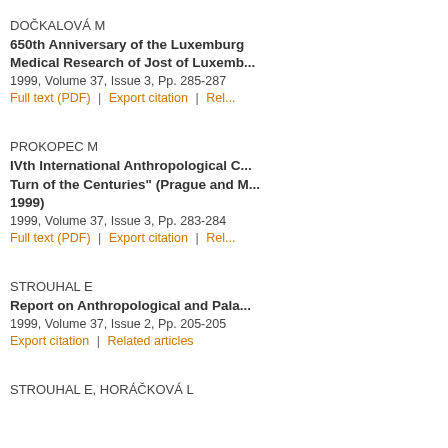DOČKALOVÁ M
650th Anniversary of the Luxemburg Medical Research of Jost of Luxemb...
1999, Volume 37, Issue 3, Pp. 285-287
Full text (PDF)  |  Export citation  |  Rel...
PROKOPEC M
IVth International Anthropological C... Turn of the Centuries" (Prague and ... 1999)
1999, Volume 37, Issue 3, Pp. 283-284
Full text (PDF)  |  Export citation  |  Rel...
STROUHAL E
Report on Anthropological and Pala...
1999, Volume 37, Issue 2, Pp. 205-205
Export citation  |  Related articles
STROUHAL E, HORÁČKOVÁ L